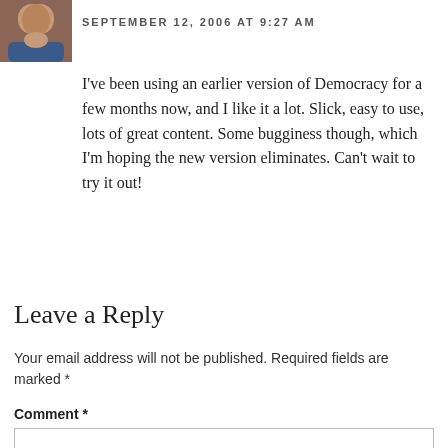[Figure (photo): Small avatar photo of a person, partially visible at top-left corner]
SEPTEMBER 12, 2006 AT 9:27 AM
I've been using an earlier version of Democracy for a few months now, and I like it a lot. Slick, easy to use, lots of great content. Some bugginess though, which I'm hoping the new version eliminates. Can't wait to try it out!
Leave a Reply
Your email address will not be published. Required fields are marked *
Comment *